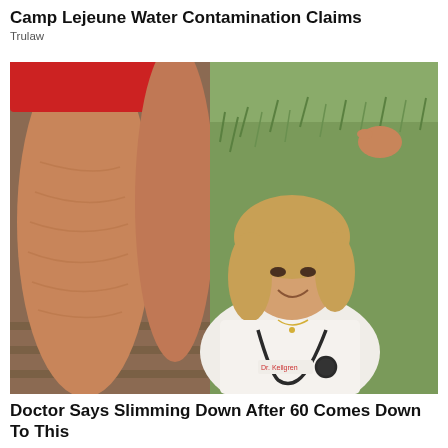Camp Lejeune Water Contamination Claims
Trulaw
[Figure (photo): Composite image showing close-up of a person's legs in red shorts alongside a smiling woman in a white doctor's coat with a stethoscope, set against a grassy dune background.]
Doctor Says Slimming Down After 60 Comes Down To This